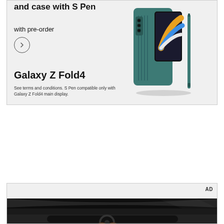[Figure (screenshot): Samsung Galaxy Z Fold4 advertisement banner showing phone with S Pen case. Text reads 'and case with S Pen', 'with pre-order', with a circular arrow button, product name 'Galaxy Z Fold4', and disclaimer text. Device shown in teal/green color with S Pen.]
[Figure (screenshot): Second advertisement banner with 'AD' label, light gray background at top transitioning to a dark car interior photograph showing a steering wheel and dashboard.]